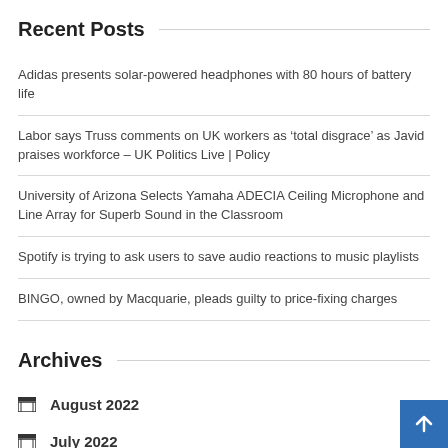Recent Posts
Adidas presents solar-powered headphones with 80 hours of battery life
Labor says Truss comments on UK workers as ‘total disgrace’ as Javid praises workforce – UK Politics Live | Policy
University of Arizona Selects Yamaha ADECIA Ceiling Microphone and Line Array for Superb Sound in the Classroom
Spotify is trying to ask users to save audio reactions to music playlists
BINGO, owned by Macquarie, pleads guilty to price-fixing charges
Archives
August 2022
July 2022